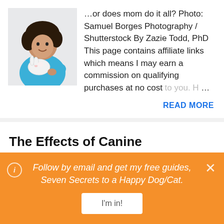[Figure (photo): Girl in blue shirt holding a white rabbit]
…or does mom do it all? Photo: Samuel Borges Photography / Shutterstock By Zazie Todd, PhD This page contains affiliate links which means I may earn a commission on qualifying purchases at no cost to you. H …
READ MORE
The Effects of Canine Personality and Joint Activities on the Dog-Owner Relationship
- June 18, 2014
[Figure (photo): Thumbnail image for article — blue rectangle placeholder]
Follow by email and get my free guides, Seven Secrets to a Happy Dog/Cat.
I'm in!